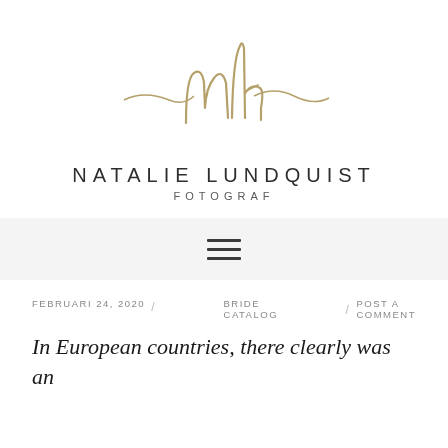[Figure (logo): Natalie Lundquist Fotograf logo with gold cursive 'nl' monogram and decorative flourish lines]
NATALIE LUNDQUIST
FOTOGRAF
[Figure (other): Hamburger menu icon with three horizontal lines on light grey navigation bar]
FEBRUARI 24, 2020  /  BRIDE CATALOG  /  POST A COMMENT
In European countries, there clearly was an